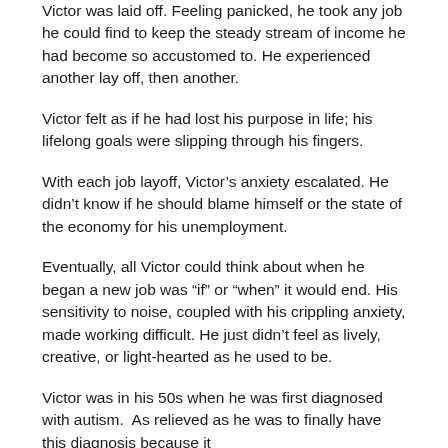Victor was laid off. Feeling panicked, he took any job he could find to keep the steady stream of income he had become so accustomed to. He experienced another lay off, then another.
Victor felt as if he had lost his purpose in life; his lifelong goals were slipping through his fingers.
With each job layoff, Victor's anxiety escalated. He didn't know if he should blame himself or the state of the economy for his unemployment.
Eventually, all Victor could think about when he began a new job was “if” or “when” it would end. His sensitivity to noise, coupled with his crippling anxiety, made working difficult. He just didn’t feel as lively, creative, or light-hearted as he used to be.
Victor was in his 50s when he was first diagnosed with autism.  As relieved as he was to finally have this diagnosis because it